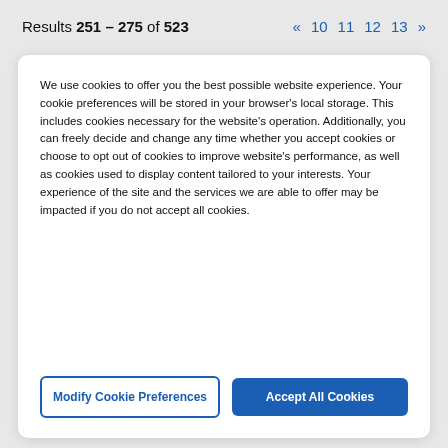Results 251 – 275 of 523  «  10  11  12  13  »
We use cookies to offer you the best possible website experience. Your cookie preferences will be stored in your browser's local storage. This includes cookies necessary for the website's operation. Additionally, you can freely decide and change any time whether you accept cookies or choose to opt out of cookies to improve website's performance, as well as cookies used to display content tailored to your interests. Your experience of the site and the services we are able to offer may be impacted if you do not accept all cookies.
Modify Cookie Preferences
Accept All Cookies